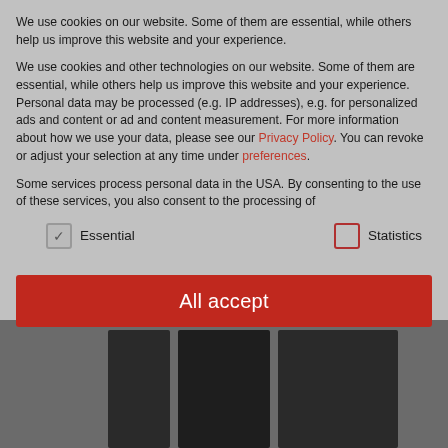We use cookies on our website. Some of them are essential, while others help us improve this website and your experience.
We use cookies and other technologies on our website. Some of them are essential, while others help us improve this website and your experience. Personal data may be processed (e.g. IP addresses), e.g. for personalized ads and content or ad and content measurement. For more information about how we use your data, please see our Privacy Policy. You can revoke or adjust your selection at any time under preferences.
Some services process personal data in the USA. By consenting to the use of these services, you also consent to the processing of
Essential
Statistics
All accept
[Figure (photo): Dark server rack or computer tower panels photographed from below, on grey background]